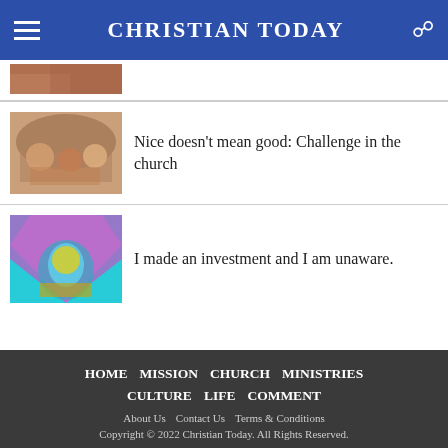CHRISTIAN TODAY
[Figure (photo): Partial thumbnail of a photo at the top of the article list, cropped]
Nice doesn't mean good: Challenge in the church
[Figure (photo): Photo of people sitting around a table, appearing to be in discussion at a restaurant or café]
I made an investment and I am unaware.
[Figure (photo): Colorful photo of a person blowing glitter, with vibrant teal and pink background]
HOME  MISSION  CHURCH  MINISTRIES  CULTURE  LIFE  COMMENT  About Us  Contact Us  Terms & Conditions  Copyright © 2022 Christian Today. All Rights Reserved.